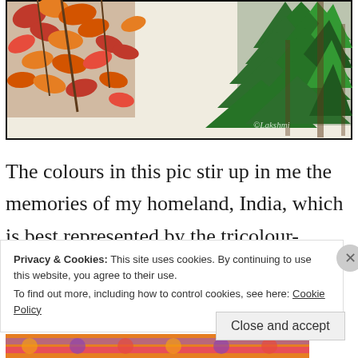[Figure (photo): Photographic image showing autumn orange-red leaves on the left and bright green pine/fir branches on the right, with a pale cream sky in the center. A watermark '@Lakshmi' is visible in the lower right area of the image.]
The colours in this pic stir up in me the memories of my homeland, India, which is best represented by the tricolour- saffron, white and
Privacy & Cookies: This site uses cookies. By continuing to use this website, you agree to their use.
To find out more, including how to control cookies, see here: Cookie Policy
[Figure (photo): Decorative strip at the bottom of the page with colorful pattern in orange, pink, purple tones.]